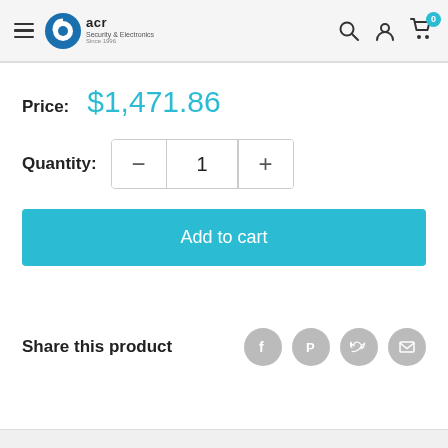[Figure (logo): ACR Security & Electronics logo with circular icon and text]
Price: $1,471.86
Quantity: 1
Add to cart
Share this product